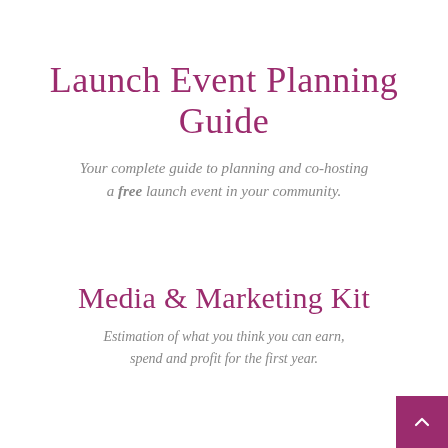Launch Event Planning Guide
Your complete guide to planning and co-hosting a free launch event in your community.
Media & Marketing Kit
Estimation of what you think you can earn, spend and profit for the first year.